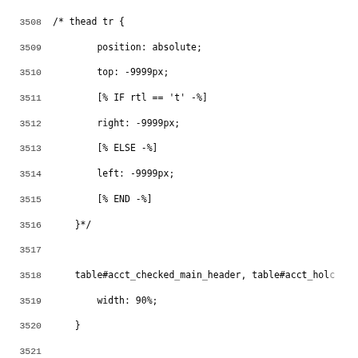Code listing lines 3508-3539 showing CSS/template code for table styling
3508: /* thead tr {
3509:         position: absolute;
3510:         top: -9999px;
3511:         [% IF rtl == 't' -%]
3512:         right: -9999px;
3513:         [% ELSE -%]
3514:         left: -9999px;
3515:         [% END -%]
3516:     }*/
3517:
3518:     table#acct_checked_main_header, table#acct_hold
3519:         width: 90%;
3520:     }
3521:
3522:     table#acct_checked_main_header tr, table#acct_h
3523:
3524:     /* Holds history gets large white border to mim
3525:         account screens that provide visual cue for
3526:         the same for ebook tables too since we have
3527:         tables. If actions get added, we should move
3528:         here. */
3529:
3530:     table#ebook_circs_main_table tr, table#ebook_ho
3531:     table#acct_holds_hist_header tr{ border-top: 2p
3532:
3533:     table#acct_checked_main_header td, table#acct_h
3534:         /* Behave  like a "row" */
3535:         border: none;
3536:         border-bottom: 1px solid #eee;
3537:         position: relative;
3538:         [% IF rtl == 't' -%]
3539:         padding-right: 40%;